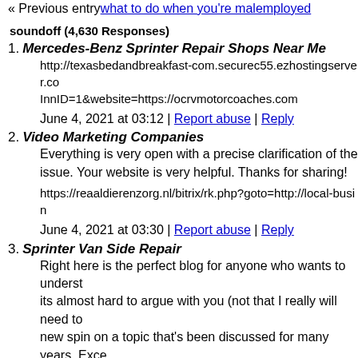« Previous entry what to do when you're malemployed
soundoff (4,630 Responses)
1. Mercedes-Benz Sprinter Repair Shops Near Me
http://texasbedandbreakfast-com.securec55.ezhostingserver.co InnID=1&website=https://ocrvmotorcoaches.com
June 4, 2021 at 03:12 | Report abuse | Reply
2. Video Marketing Companies
Everything is very open with a precise clarification of the issue. Your website is very helpful. Thanks for sharing!
https://reaaldierenzorg.nl/bitrix/rk.php?goto=http://local-busin
June 4, 2021 at 03:30 | Report abuse | Reply
3. Sprinter Van Side Repair
Right here is the perfect blog for anyone who wants to understand its almost hard to argue with you (not that I really will need to new spin on a topic that's been discussed for many years. Exce
http://wallymarx.com/__media__/js/netsoltrademark.php?d=sp